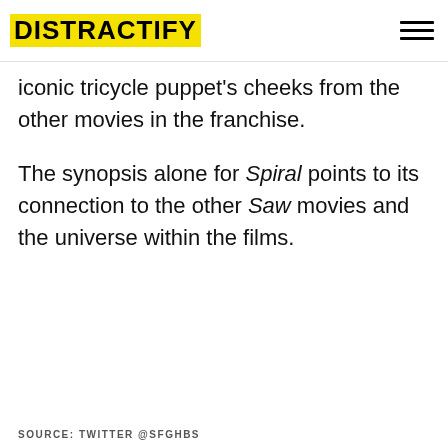DISTRACTIFY
iconic tricycle puppet's cheeks from the other movies in the franchise.
The synopsis alone for Spiral points to its connection to the other Saw movies and the universe within the films.
SOURCE: TWITTER @SFGHBS